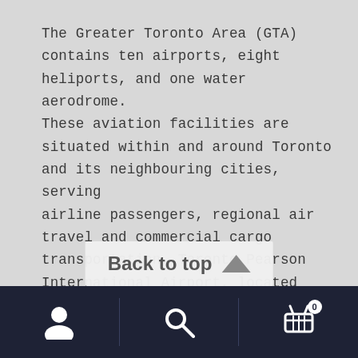The Greater Toronto Area (GTA) contains ten airports, eight heliports, and one water aerodrome. These aviation facilities are situated within and around Toronto and its neighbouring cities, serving airline passengers, regional air travel and commercial cargo transportation. Toronto Pearson International Airport, located mainly in Mississauga, is the busiest airport in Canada ...
[Figure (other): Back to top button with upward triangle arrow]
Bottom navigation bar with person icon, search icon, and shopping cart icon with badge showing 0